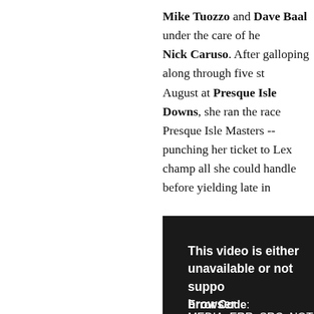Mike Tuozzo and Dave Baal under the care of he Nick Caruso. After galloping along through five st August at Presque Isle Downs, she ran the race Presque Isle Masters -- punching her ticket to Lex champ all she could handle before yielding late in
Regular rider Harry Vega was aboard for that race racemare's final pre-TCA move, her only breeze o Purely Hot posted fractions of :12 1/5, :24 2/5, :36 furlongs in 1:01. Vega has only ridden at Keenelan 2002 Phoenix Stakes (gr. III) aboard Xtra Heat.
[Figure (screenshot): Video player error screen with dark background. Text reads: 'This video is either unavailable or not supported in your browser'. Error Code: MEDIA_ERR_SRC_NOT_SUPPORTED. Session ID: 2022-08-24:b3d82d7710d385cb5fdd25f9 Player ID: vjs_vid]